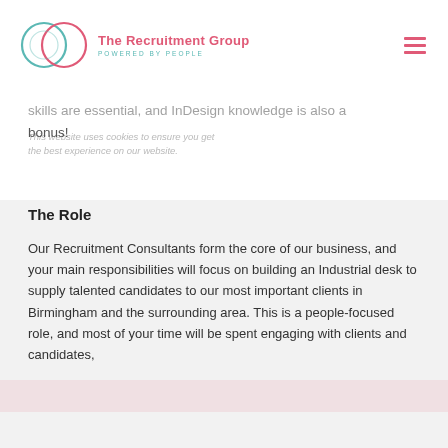The Recruitment Group — POWERED BY PEOPLE
skills are essential, and InDesign knowledge is also a bonus!
The Role
Our Recruitment Consultants form the core of our business, and your main responsibilities will focus on building an Industrial desk to supply talented candidates to our most important clients in Birmingham and the surrounding area. This is a people-focused role, and most of your time will be spent engaging with clients and candidates,